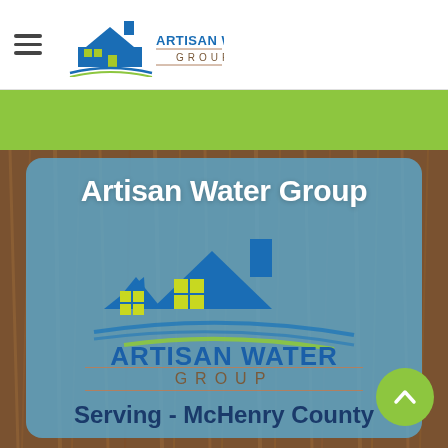Artisan Water Group — navigation header with hamburger menu and logo
[Figure (logo): Artisan Water Group logo: house silhouette in blue with yellow-green windows and blue water wave swoosh beneath, text ARTISAN WATER GROUP]
Artisan Water Group
[Figure (logo): Large Artisan Water Group logo on blue card: house in blue with lime-green windows, water wave swoosh, text ARTISAN WATER GROUP]
Serving - McHenry County